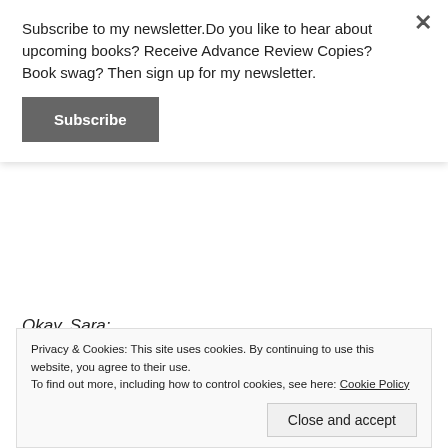Subscribe to my newsletter.Do you like to hear about upcoming books? Receive Advance Review Copies? Book swag? Then sign up for my newsletter.
Subscribe
Okay, Sara:
“I’m fine. Thank you for saving my father.”
He shrugged, as if what he had done had been of little consequence.
Privacy & Cookies: This site uses cookies. By continuing to use this website, you agree to their use.
To find out more, including how to control cookies, see here: Cookie Policy
Close and accept